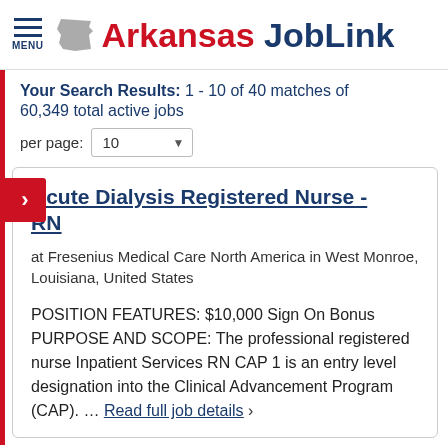Arkansas JobLink
Your Search Results: 1 - 10 of 40 matches of 60,349 total active jobs
Per page: 10
Acute Dialysis Registered Nurse - RN
at Fresenius Medical Care North America in West Monroe, Louisiana, United States
POSITION FEATURES: $10,000 Sign On Bonus PURPOSE AND SCOPE: The professional registered nurse Inpatient Services RN CAP 1 is an entry level designation into the Clinical Advancement Program (CAP). ... Read full job details >